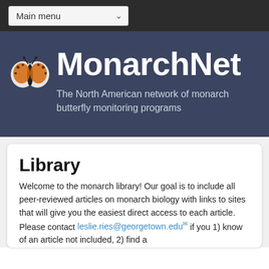Main menu
MonarchNet
The North American network of monarch butterfly monitoring programs
Library
Welcome to the monarch library! Our goal is to include all peer-reviewed articles on monarch biology with links to sites that will give you the easiest direct access to each article. Please contact leslie.ries@georgetown.edu if you 1) know of an article not included, 2) find a